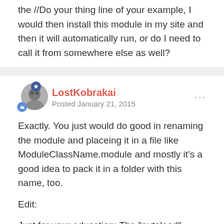the //Do your thing line of your example, I would then install this module in my site and then it will automatically run, or do I need to call it from somewhere else as well?
LostKobrakai
Posted January 21, 2015
Exactly. You just would do good in renaming the module and placeing it in a file like ModuleClassName.module and mostly it's a good idea to pack it in a folder with this name, too.
Edit:
Just for your education: The "autoload" config tells processwire to load the module everytime.